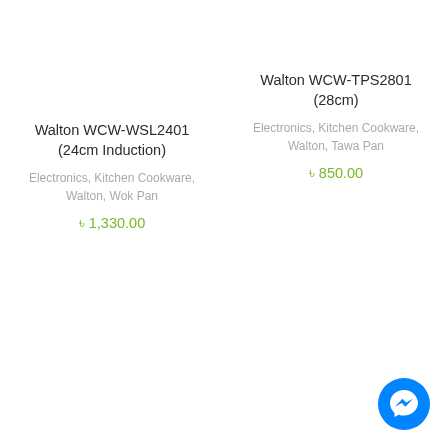Walton WCW-WSL2401 (24cm Induction)
Electronics, Kitchen Cookware, Walton, Wok Pan
৳ 1,330.00
Walton WCW-TPS2801 (28cm)
Electronics, Kitchen Cookware, Walton, Tawa Pan
৳ 850.00
[Figure (other): Messenger chat button icon (blue circle with white lightning bolt)]